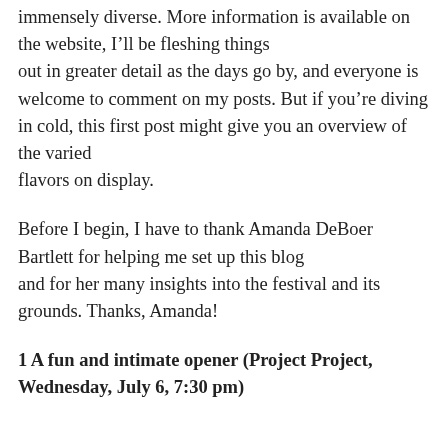immensely diverse. More information is available on the website, I'll be fleshing things out in greater detail as the days go by, and everyone is welcome to comment on my posts. But if you're diving in cold, this first post might give you an overview of the varied flavors on display.
Before I begin, I have to thank Amanda DeBoer Bartlett for helping me set up this blog and for her many insights into the festival and its grounds. Thanks, Amanda!
1 A fun and intimate opener (Project Project, Wednesday, July 6, 7:30 pm)